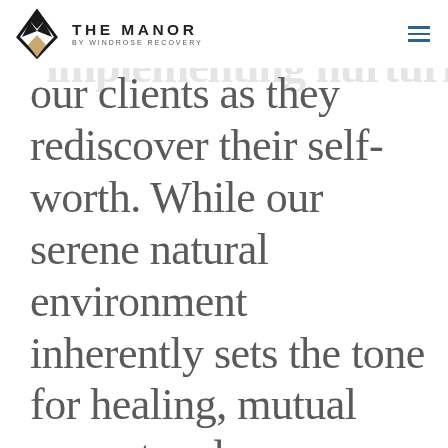THE MANOR BY WINDROSE RECOVERY
importance of implementing nurturing our clients as they rediscover their self-worth. While our serene natural environment inherently sets the tone for healing, mutual respect and authenticity are at the core of the